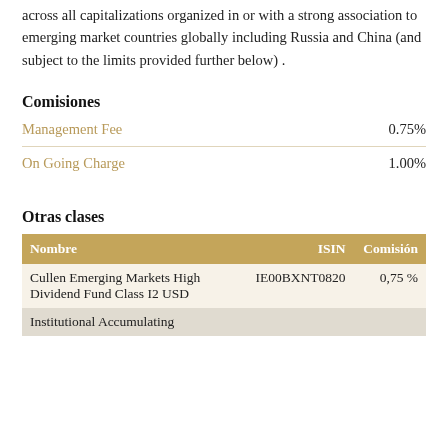across all capitalizations organized in or with a strong association to emerging market countries globally including Russia and China (and subject to the limits provided further below) .
Comisiones
|  |  |
| --- | --- |
| Management Fee | 0.75% |
| On Going Charge | 1.00% |
Otras clases
| Nombre | ISIN | Comisión |
| --- | --- | --- |
| Cullen Emerging Markets High Dividend Fund Class I2 USD Institutional Accumulating | IE00BXNT0820 | 0,75 % |